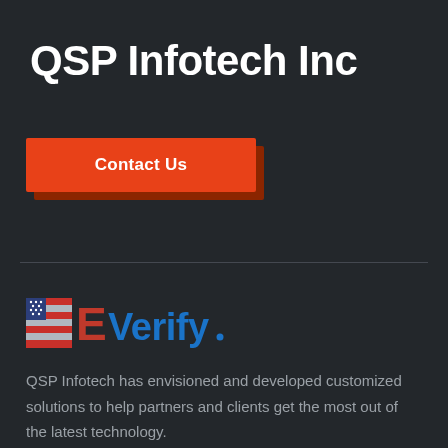QSP Infotech Inc
Contact Us
[Figure (logo): E-Verify logo with US flag icon, red E letter, and blue 'Verify.' text]
QSP Infotech has envisioned and developed customized solutions to help partners and clients get the most out of the latest technology.